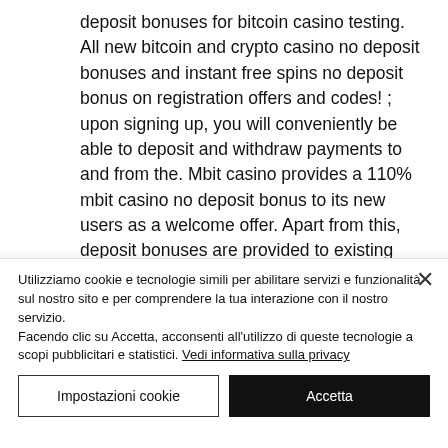deposit bonuses for bitcoin casino testing. All new bitcoin and crypto casino no deposit bonuses and instant free spins no deposit bonus on registration offers and codes! ; upon signing up, you will conveniently be able to deposit and withdraw payments to and from the. Mbit casino provides a 110% mbit casino no deposit bonus to its new users as a welcome offer. Apart from this, deposit bonuses are provided to existing players
Utilizziamo cookie e tecnologie simili per abilitare servizi e funzionalità sul nostro sito e per comprendere la tua interazione con il nostro servizio. Facendo clic su Accetta, acconsenti all'utilizzo di queste tecnologie a scopi pubblicitari e statistici. Vedi informativa sulla privacy
Impostazioni cookie
Accetta